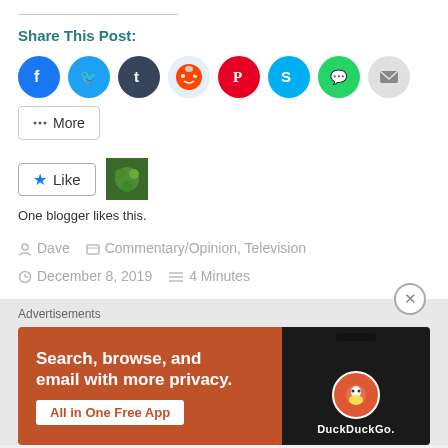Share This Post:
[Figure (infographic): Social sharing buttons: Facebook, Twitter, Tumblr, Reddit, Pinterest, Skype, WhatsApp, Email, and a More button]
[Figure (infographic): Like button with star icon and a blogger profile thumbnail. Text: One blogger likes this.]
One blogger likes this.
Dave   Commentary/Opinion, Television   December 8, 2019   4 Minutes
[Figure (infographic): DuckDuckGo advertisement banner: Search, browse, and email with more privacy. All in One Free App.]
Advertisements